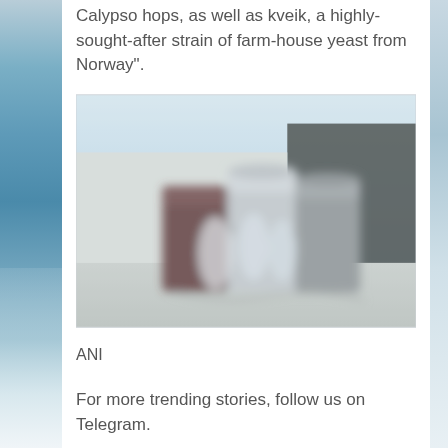Calypso hops, as well as kveik, a highly-sought-after strain of farm-house yeast from Norway".
[Figure (photo): Blurred photo showing industrial brewing equipment or containers in a warehouse/industrial setting, with a light-colored exterior in the background.]
ANI
For more trending stories, follow us on Telegram.